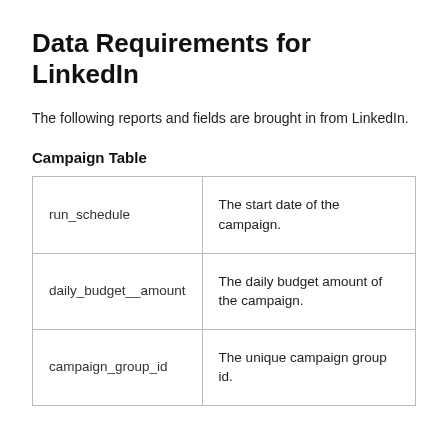Data Requirements for LinkedIn
The following reports and fields are brought in from LinkedIn.
Campaign Table
|  |  |
| --- | --- |
| run_schedule | The start date of the campaign. |
| daily_budget__amount | The daily budget amount of the campaign. |
| campaign_group_id | The unique campaign group id. |